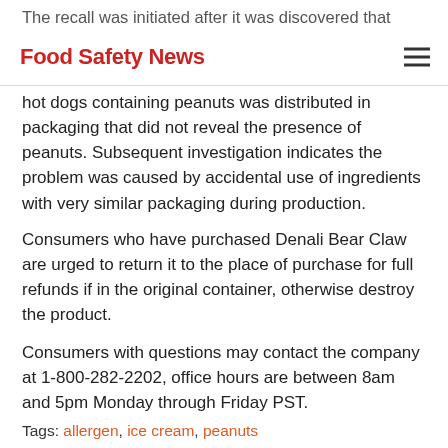The recall was initiated after it was discovered that
Food Safety News
hot dogs containing peanuts was distributed in packaging that did not reveal the presence of peanuts. Subsequent investigation indicates the problem was caused by accidental use of ingredients with very similar packaging during production.
Consumers who have purchased Denali Bear Claw are urged to return it to the place of purchase for full refunds if in the original container, otherwise destroy the product.
Consumers with questions may contact the company at 1-800-282-2202, office hours are between 8am and 5pm Monday through Friday PST.
Tags: allergen, ice cream, peanuts